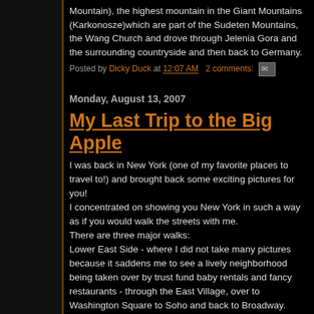Mountain), the highest mountain in the Giant Mountains (Karkonosze)which are part of the Sudeten Mountains, the Wang Church and drove through Jelenia Gora and the surrounding countryside and then back to Germany.
Posted by Dicky Duck at 12:07 AM   2 comments:
Monday, August 13, 2007
My Last Trip to the Big Apple
I was back in New York (one of my favorite places to travel to!) and brought back some exciting pictures for you!
I concentrated on showing you New York in such a way as if you would walk the streets with me.
There are three major walks:
Lower East Side - where I did not take many pictures because it saddens me to see a lively neighborhood being taken over by trust fund baby rentals and fancy restaurants - through the East Village, over to Washington Square to Soho and back to Broadway.
Times Square to Central Park.
Up Broadway from the Smithsonian National Museum of the American Indian to about Houston.
Then I attended two events:
Na Lei Hulu I Ka Wekiu, a wonderful hula show and